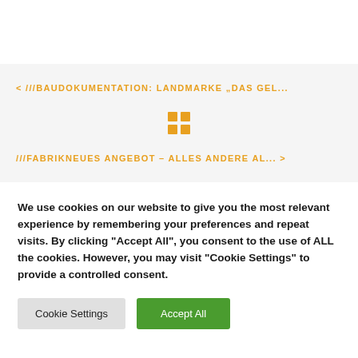< ///BAUDOKUMENTATION: LANDMARKE „DAS GEL...
[Figure (other): Grid/apps icon (2x2 squares) in orange]
///FABRIKNEUES ANGEBOT – ALLES ANDERE AL... >
We use cookies on our website to give you the most relevant experience by remembering your preferences and repeat visits. By clicking "Accept All", you consent to the use of ALL the cookies. However, you may visit "Cookie Settings" to provide a controlled consent.
Cookie Settings | Accept All